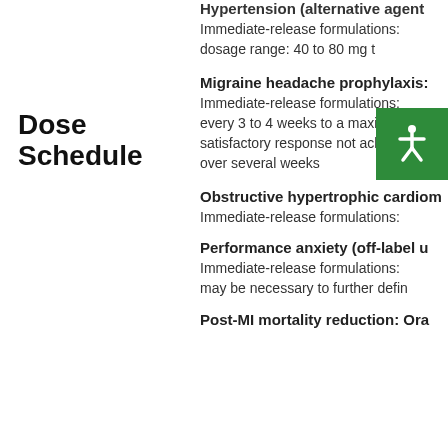Hypertension (alternative agent
Immediate-release formulations: dosage range: 40 to 80 mg t
Dose Schedule
Migraine headache prophylaxis:
Immediate-release formulations: every 3 to 4 weeks to a maximum satisfactory response not achieved over several weeks
Obstructive hypertrophic cardiom
Immediate-release formulations:
Performance anxiety (off-label u
Immediate-release formulations: may be necessary to further defin
Post-MI mortality reduction: Ora